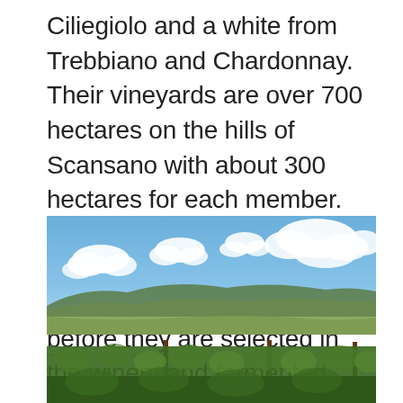Ciliegiolo and a white from Trebbiano and Chardonnay. Their vineyards are over 700 hectares on the hills of Scansano with about 300 hectares for each member. These small plots enable members to grow the grapes with attentiveness and care before they are selected in the winery and fermented separately for the base wine.
[Figure (photo): Landscape photograph of a vineyard with green vine rows in the foreground, rolling green hills and fields in the middle ground, and a blue sky with scattered white clouds above.]